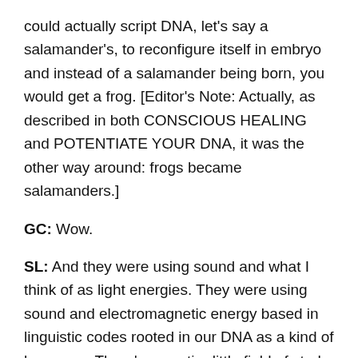could actually script DNA, let's say a salamander's, to reconfigure itself in embryo and instead of a salamander being born, you would get a frog. [Editor's Note: Actually, as described in both CONSCIOUS HEALING and POTENTIATE YOUR DNA, it was the other way around: frogs became salamanders.]
GC: Wow.
SL: And they were using sound and what I think of as light energies. They were using sound and electromagnetic energy based in linguistic codes rooted in our DNA as a kind of language. There's an entire little field of study called genetic linguistics where you can explore this concept a little bit more. They were actually able to do some very radical, space-age, sci-fi types of